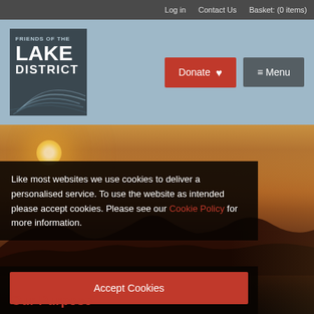Log in   Contact Us   Basket: (0 items)
[Figure (logo): Friends of the Lake District logo — dark teal square with text and topographic contour illustration]
Donate ♥
≡ Menu
[Figure (photo): Sunset over Lake District mountains — warm golden-orange sky with sun near horizon, dark mountain silhouettes]
Like most websites we use cookies to deliver a personalised service. To use the website as intended please accept cookies. Please see our Cookie Policy for more information.
Accept Cookies
Our Purpose